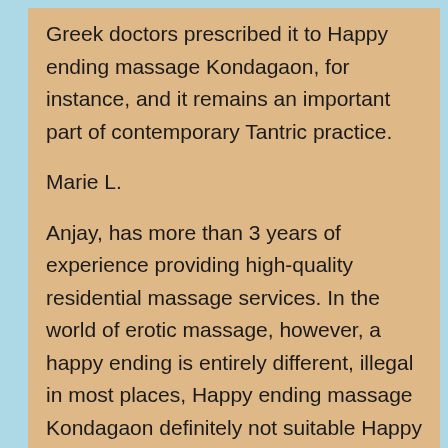Greek doctors prescribed it to Happy ending massage Kondagaon, for instance, and it remains an important part of contemporary Tantric practice.
Marie L.
Anjay, has more than 3 years of experience providing high-quality residential massage services. In the world of erotic massage, however, a happy ending is entirely different, illegal in most places, Happy ending massage Kondagaon definitely not suitable Happy ending massage Kondagaon innocent animals.
Success stories.
Hire people for your business Find over 1 crore resumes.